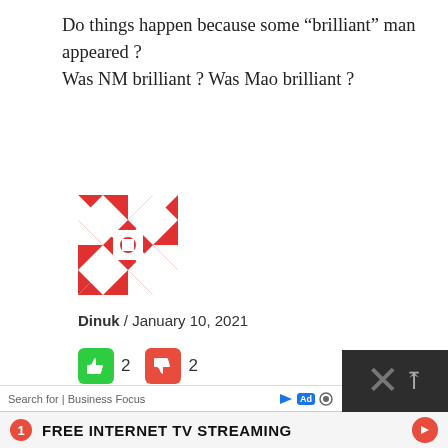Do things happen because some “brilliant” man appeared ?
Was NM brilliant ? Was Mao brilliant ?
[Figure (illustration): Red and white geometric/snowflake pattern avatar icon]
Dinuk / January 10, 2021
[Figure (other): Thumbs up (green) count: 2, Thumbs down (red) count: 2]
1. Covid-19 plandemic has backfired on the Euro-American Corporate mafia that hatched the plot with Big Phama, Gates and the Davos clique and WHO and other UN agencies for Global Governance.
Search for | Business Focus
FREE INTERNET TV STREAMING